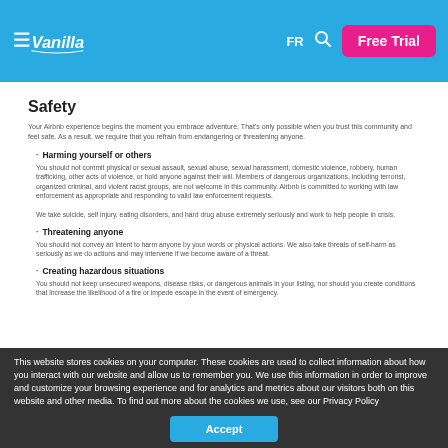Vanilla | FR | Free Trial
Safety
Your Airbnb experience begins the moment you embrace adventure. That's only possible when you trust this community and feel safe. As a result, we require that you refrain from endangering or threatening anyone.
Harming yourself or others
You should not commit physical or sexual assault, sexual abuse, sexual harassment, domestic violence, robbery, human trafficking, other acts of violence, or hold anyone against their will. Members of dangerous organizations, including terrorist, organized criminal, and violent racist groups, are not welcome in this community. Airbnb is committed to working with law enforcement as appropriate and responding to valid law enforcement requests.

We take suicide, self injury, eating disorders, and hard drug abuse extremely seriously and work to help people in crisis.
Threatening anyone
You should not convey an intent to harm anyone by your words or physical actions. We also take threats of self-harm as seriously as we do actions and may intervene if we become aware of a threat.
Creating hazardous situations
You should not keep unsecured weapons, disease risks, or dangerous animals in your listing, nor should you create conditions that increase the likelihood of a fire or impede escape in the event of emergency.
This website stores cookies on your computer. These cookies are used to collect information about how you interact with our website and allow us to remember you. We use this information in order to improve and customize your browsing experience and for analytics and metrics about our visitors both on this website and other media. To find out more about the cookies we use, see our Privacy Policy
Accept